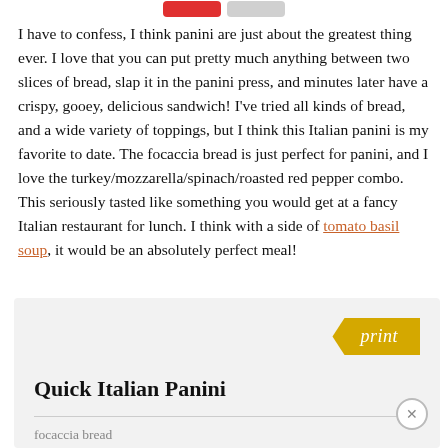[Figure (other): Two buttons at the top: a red button and a gray button]
I have to confess, I think panini are just about the greatest thing ever. I love that you can put pretty much anything between two slices of bread, slap it in the panini press, and minutes later have a crispy, gooey, delicious sandwich! I've tried all kinds of bread, and a wide variety of toppings, but I think this Italian panini is my favorite to date. The focaccia bread is just perfect for panini, and I love the turkey/mozzarella/spinach/roasted red pepper combo. This seriously tasted like something you would get at a fancy Italian restaurant for lunch. I think with a side of tomato basil soup, it would be an absolutely perfect meal!
[Figure (other): Recipe card box with print button, title 'Quick Italian Panini', and ingredient list starting with focaccia bread and turkey]